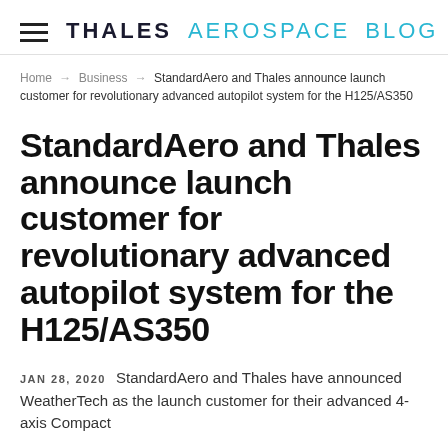THALES AEROSPACE BLOG
Home → Business → StandardAero and Thales announce launch customer for revolutionary advanced autopilot system for the H125/AS350
StandardAero and Thales announce launch customer for revolutionary advanced autopilot system for the H125/AS350
JAN 28, 2020  StandardAero and Thales have announced WeatherTech as the launch customer for their advanced 4-axis Compact